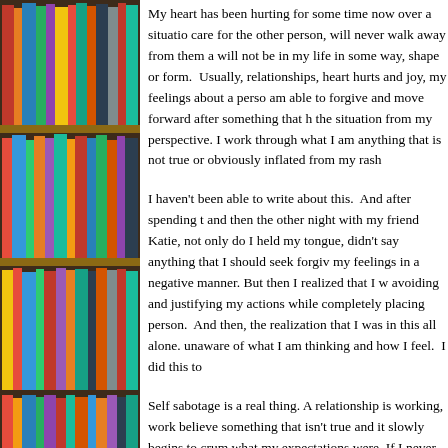[Figure (photo): Bookshelf with colorful books visible on the left side of the page]
My heart has been hurting for some time now over a situation. I care for the other person, will never walk away from them and will not be in my life in some way, shape or form. Usually, relationships, heart hurts and joy, my feelings about a person, am able to forgive and move forward after something that hurt the situation from my perspective. I work through what I am anything that is not true or obviously inflated from my rash
I haven't been able to write about this. And after spending t and then the other night with my friend Katie, not only do I held my tongue, didn't say anything that I should seek forgiv my feelings in a negative manner. But then I realized that I w avoiding and justifying my actions while completely placing person. And then, the realization that I was in this all alone. unaware of what I am thinking and how I feel. I did this to
Self sabotage is a real thing. A relationship is working, work believe something that isn't true and it slowly begins to crum what my expectations were. If I never voiced my hopes and possibly hold the other person accountable when I think the person will tell you that this line of thinking will lead you do